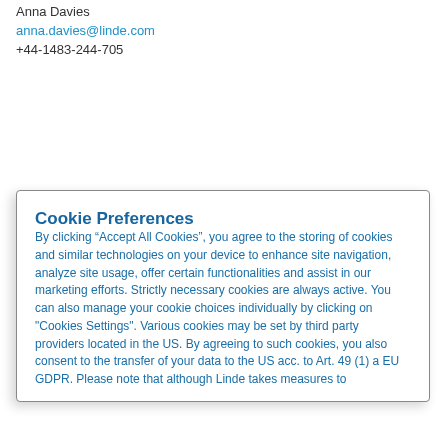Anna Davies
anna.davies@linde.com
+44-1483-244-705
Cookie Preferences
By clicking “Accept All Cookies”, you agree to the storing of cookies and similar technologies on your device to enhance site navigation, analyze site usage, offer certain functionalities and assist in our marketing efforts. Strictly necessary cookies are always active. You can also manage your cookie choices individually by clicking on "Cookies Settings". Various cookies may be set by third party providers located in the US. By agreeing to such cookies, you also consent to the transfer of your data to the US acc. to Art. 49 (1) a EU GDPR. Please note that although Linde takes measures to